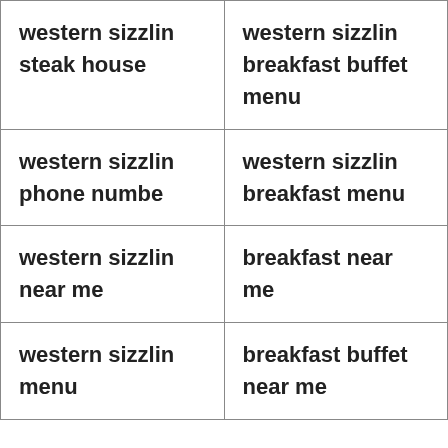| western sizzlin steak house | western sizzlin breakfast buffet menu |
| western sizzlin phone numbe | western sizzlin breakfast menu |
| western sizzlin near me | breakfast near me |
| western sizzlin menu | breakfast buffet near me |